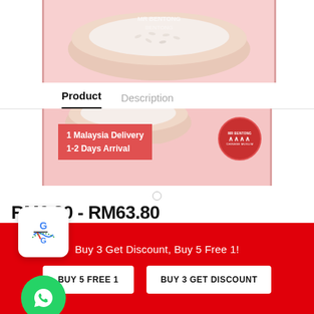[Figure (photo): Product image of rice/salt in a bowl with pink/red background, MR BENTONG watermark]
Product   Description
[Figure (photo): Product banner showing '1 Malaysia Delivery 1-2 Days Arrival' with MR BENTONG Chinese Muslim logo]
RM6.80 - RM63.80
MR BENTONG BENTONG Organic Pure Himalaya Rock Salt Garam Batu Ingredient Do Gift Wholesale Dropship
Buy 3 Get Discount, Buy 5 Free 1!
BUY 5 FREE 1
BUY 3 GET DISCOUNT